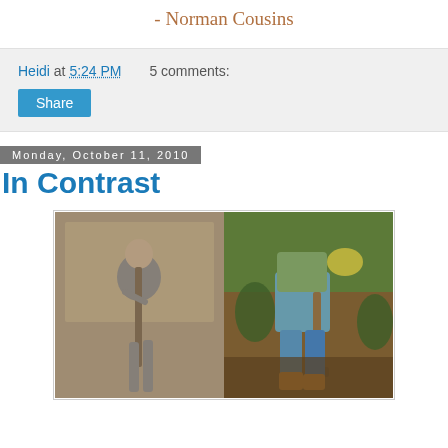- Norman Cousins
Heidi at 5:24 PM   5 comments:
Share
Monday, October 11, 2010
In Contrast
[Figure (photo): Side-by-side photos: left is black-and-white photo of a young boy holding a stick/pole outdoors; right is a color photo of a person (adult) holding a shovel/tool outdoors with green foliage in background.]